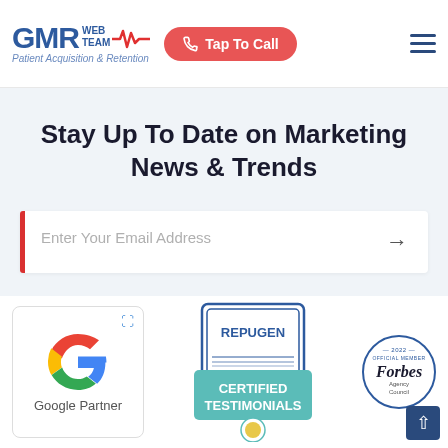GMR Web Team — Patient Acquisition & Retention | Tap To Call
Stay Up To Date on Marketing News & Trends
Enter Your Email Address
[Figure (logo): Google Partner badge with Google G logo]
[Figure (logo): RepuGen Certified Testimonials badge]
[Figure (logo): Forbes Agency Council 2022 badge]